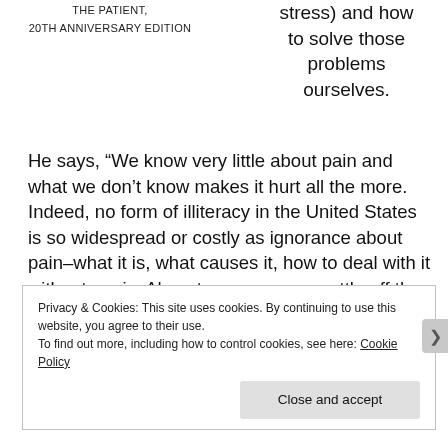THE PATIENT, 20TH ANNIVERSARY EDITION
stress) and how to solve those problems ourselves. He says, “We know very little about pain and what we don’t know makes it hurt all the more. Indeed, no form of illiteracy in the United States is so widespread or costly as ignorance about pain–what it is, what causes it, how to deal with it without panic. Almost everyone can rattle off the names of at least a dozen drugs that can deaden pain from every conceivable cause–all the way from headaches to hemorrhoids.” Cousins suggests we could combat this lack of knowledge with education about pain in schools, and “If
Privacy & Cookies: This site uses cookies. By continuing to use this website, you agree to their use.
To find out more, including how to control cookies, see here: Cookie Policy
Close and accept